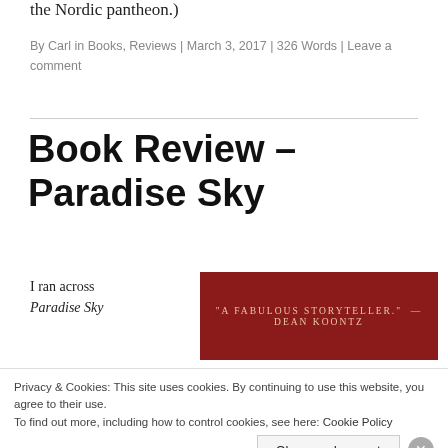the Nordic pantheon.)
By Carl in Books, Reviews | March 3, 2017 | 326 Words | Leave a comment
Book Review – Paradise Sky
I ran across Paradise Sky
[Figure (photo): Book cover with dark red background and text reading "A FABULOUS STORYTELLER." — DEAN KOONTZ]
Privacy & Cookies: This site uses cookies. By continuing to use this website, you agree to their use.
To find out more, including how to control cookies, see here: Cookie Policy
Close and accept